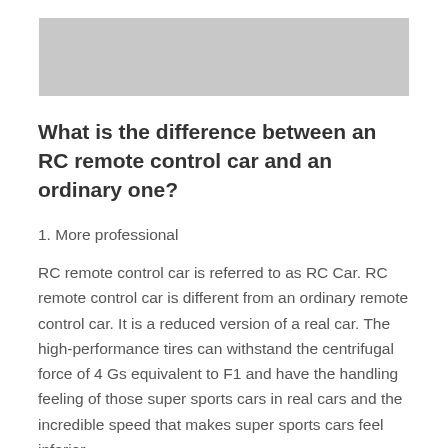[Figure (photo): Gray placeholder image at the top of the page]
What is the difference between an RC remote control car and an ordinary one?
1. More professional
RC remote control car is referred to as RC Car. RC remote control car is different from an ordinary remote control car. It is a reduced version of a real car. The high-performance tires can withstand the centrifugal force of 4 Gs equivalent to F1 and have the handling feeling of those super sports cars in real cars and the incredible speed that makes super sports cars feel inferior.
2. Higher requirements for operation
Unlike ordinary remote control cars, the RC remote control car